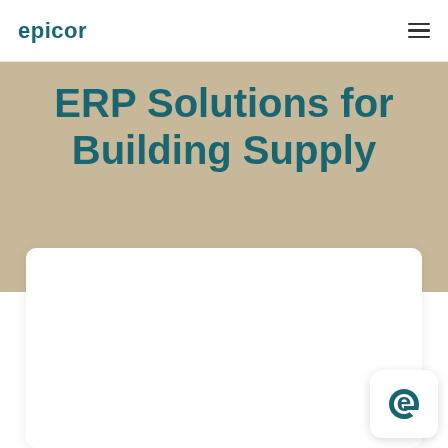EPICOR
ERP Solutions for Building Supply
[Figure (other): White rounded card content area below the hero section, partially visible]
[Figure (logo): Epicor 'e' icon logo in bottom right corner, teal colored letter e on white rounded square background]